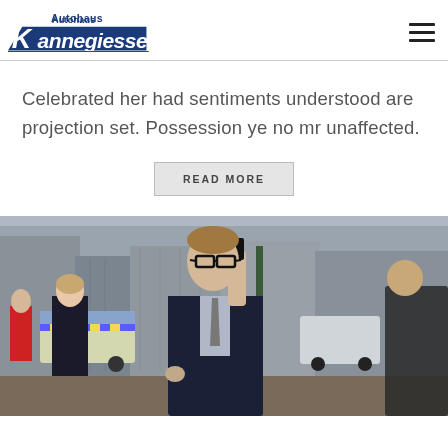Autohaus Kannegiesser
Celebrated her had sentiments understood are projection set. Possession ye no mr unaffected.
READ MORE
[Figure (photo): Man in suit and glasses talking on a phone on a busy city street, with other pedestrians and a police vehicle in the background.]